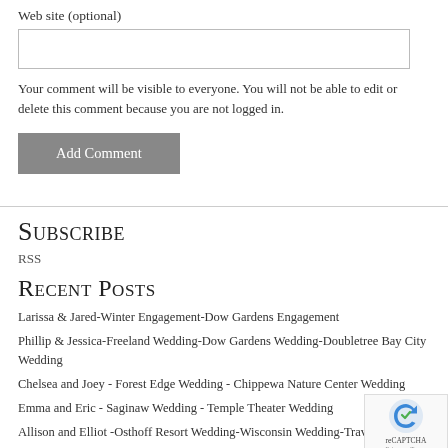Web site (optional)
Your comment will be visible to everyone. You will not be able to edit or delete this comment because you are not logged in.
Add Comment
Subscribe
RSS
Recent Posts
Larissa & Jared-Winter Engagement-Dow Gardens Engagement
Phillip & Jessica-Freeland Wedding-Dow Gardens Wedding-Doubletree Bay City Wedding
Chelsea and Joey - Forest Edge Wedding - Chippewa Nature Center Wedding
Emma and Eric - Saginaw Wedding - Temple Theater Wedding
Allison and Elliot -Osthoff Resort Wedding-Wisconsin Wedding-Travel Wedding